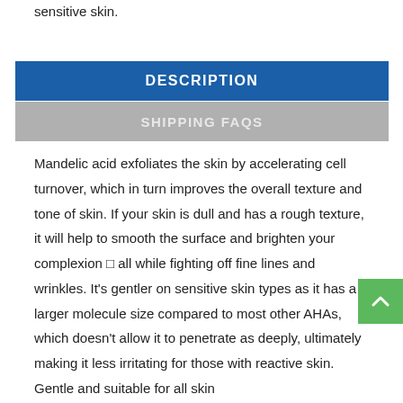sensitive skin.
DESCRIPTION
SHIPPING FAQS
Mandelic acid exfoliates the skin by accelerating cell turnover, which in turn improves the overall texture and tone of skin. If your skin is dull and has a rough texture, it will help to smooth the surface and brighten your complexion □ all while fighting off fine lines and wrinkles. It's gentler on sensitive skin types as it has a larger molecule size compared to most other AHAs, which doesn't allow it to penetrate as deeply, ultimately making it less irritating for those with reactive skin. Gentle and suitable for all skin